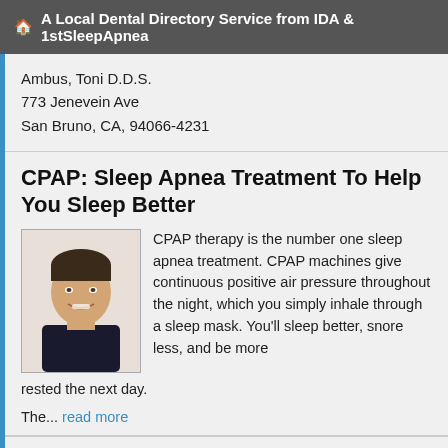A Local Dental Directory Service from IDA & 1stSleepApnea
Ambus, Toni D.D.S.
773 Jenevein Ave
San Bruno, CA, 94066-4231
CPAP: Sleep Apnea Treatment To Help You Sleep Better
[Figure (photo): Portrait photo of a smiling man]
CPAP therapy is the number one sleep apnea treatment. CPAP machines give continuous positive air pressure throughout the night, which you simply inhale through a sleep mask. You'll sleep better, snore less, and be more rested the next day.
The... read more
Apnea: Skipping Breaths at Night Equals Sleep Apnea
[Figure (photo): Portrait photo of a person]
An apnea is what happens when you stop